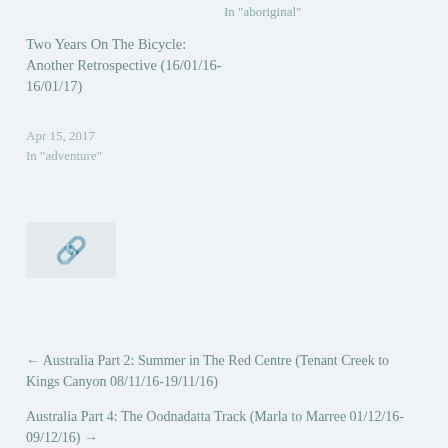In "aboriginal"
Two Years On The Bicycle: Another Retrospective (16/01/16-16/01/17)
Apr 15, 2017
In "adventure"
[Figure (other): Share icon / link icon in a small grey box]
← Australia Part 2: Summer in The Red Centre (Tenant Creek to Kings Canyon 08/11/16-19/11/16)
Australia Part 4: The Oodnadatta Track (Marla to Marree 01/12/16-09/12/16) →